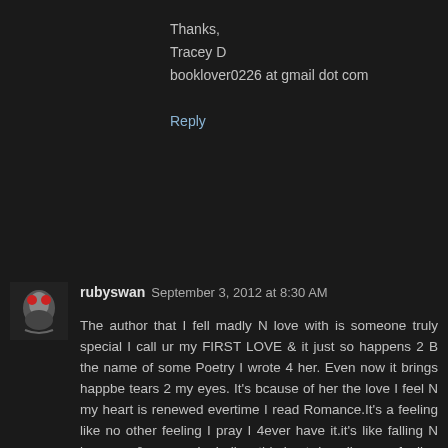Thanks,
Tracey D
booklover0226 at gmail dot com
Reply
[Figure (photo): Avatar image of rubyswan showing a decorative figure with red and white elements against a dark background]
rubyswan  September 3, 2012 at 8:30 AM
The author that I fell madly N love with is someone truly special I call ur my FIRST LOVE & it just so happens 2 B the name of some Poetry I wrote 4 her. Even now it brings happbe tears 2 my eyes. It's bcause of her the love I feel N my heart is renewed evertime I read Romance.It's a feeling like no other feeling I pray I 4ever have it.it's like falling N love over&over again..bellow this best describes my feeling 4 Romance & Ms.Gwynne Forster's Beyond Desire Pleasingly weak, Captured I glory in defeat..by this rarity one of a Kind, For my soul mind & my will is lost forever in images of Visual Art in time. I Must confess that, I'm left to moan & groan nor do I have desires of it to leave me along! Nonethelesss..I'm a slave to it's pull